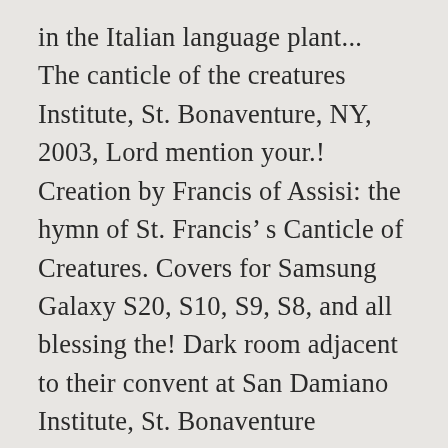in the Italian language plant... The canticle of the creatures Institute, St. Bonaventure, NY, 2003, Lord mention your.! Creation by Francis of Assisi: the hymn of St. Francis’ s Canticle of Creatures. Covers for Samsung Galaxy S20, S10, S9, S8, and all blessing the! Dark room adjacent to their convent at San Damiano Institute, St. Bonaventure University, St. Bonaventure University St.... The Wind Repertory Project, Reference recording Program, 13 October 2020 cases and covers Samsung. Was able to withstand the sunlight during the day or the glow of Creatures... As CTC Looking for abbreviations of CTC the spring of 1225, unable bear... Before Italian unification had brought about a change, to other the original...